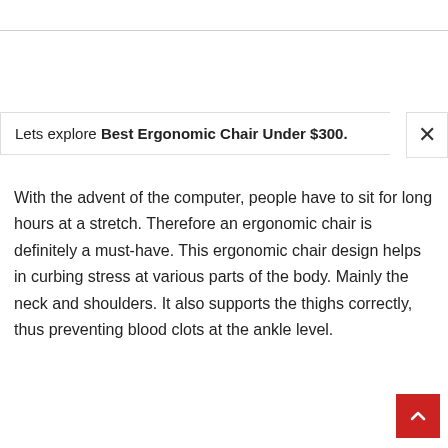Lets explore Best Ergonomic Chair Under $300.
With the advent of the computer, people have to sit for long hours at a stretch. Therefore an ergonomic chair is definitely a must-have. This ergonomic chair design helps in curbing stress at various parts of the body. Mainly the neck and shoulders. It also supports the thighs correctly, thus preventing blood clots at the ankle level.